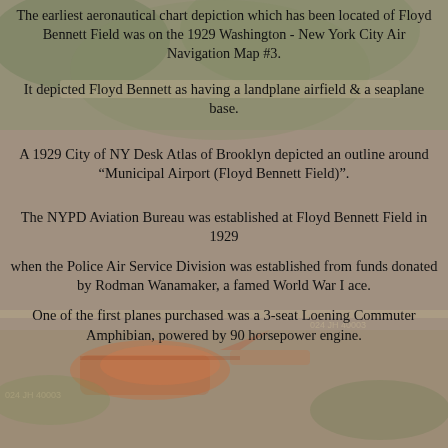The earliest aeronautical chart depiction which has been located of Floyd Bennett Field was on the 1929 Washington - New York City Air Navigation Map #3.
It depicted Floyd Bennett as having a landplane airfield & a seaplane base.
A 1929 City of NY Desk Atlas of Brooklyn depicted an outline around “Municipal Airport (Floyd Bennett Field)”.
The NYPD Aviation Bureau was established at Floyd Bennett Field in 1929
when the Police Air Service Division was established from funds donated by Rodman Wanamaker, a famed World War I ace.
One of the first planes purchased was a 3-seat Loening Commuter Amphibian, powered by 90 horsepower engine.